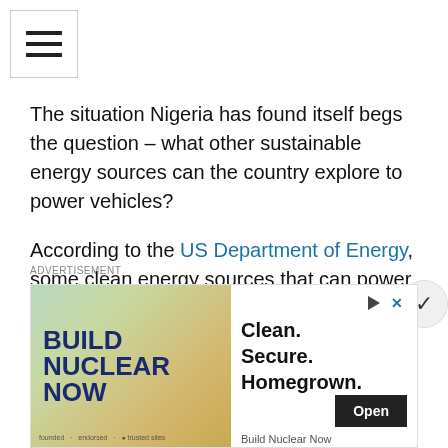[Figure (other): Hamburger menu icon (three horizontal lines) inside a bordered square button]
The situation Nigeria has found itself begs the question – what other sustainable energy sources can the country explore to power vehicles?
According to the US Department of Energy, some clean energy sources that can power vehicles while helping to reduce emissions include but are not limited to:
i) Electricity: Electricity can be used to power plug-in electric vehicles (PEVs), including both all-electric
ADVERTISEMENT
[Figure (infographic): Advertisement banner for Build Nuclear Now. Left side shows green/gold background with bold text 'BUILD NUCLEAR NOW'. Right side shows text 'Clean. Secure. Homegrown.' with an Open button and 'Build Nuclear Now' footer text.]